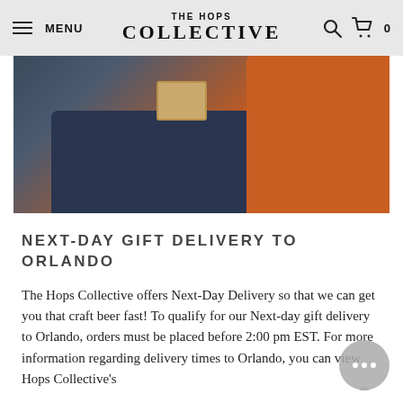MENU | THE HOPS COLLECTIVE
[Figure (photo): Person in navy blue receiving a package/box from someone in an orange shirt — a delivery scene]
NEXT-DAY GIFT DELIVERY TO ORLANDO
The Hops Collective offers Next-Day Delivery so that we can get you that craft beer fast! To qualify for our Next-day gift delivery to Orlando, orders must be placed before 2:00 pm EST. For more information regarding delivery times to Orlando, you can view Hops Collective's